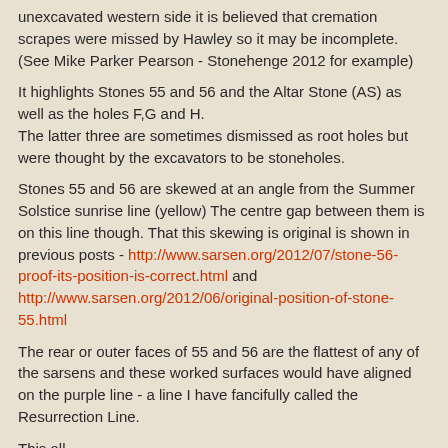unexcavated western side it is believed that cremation scrapes were missed by Hawley so it may be incomplete. (See Mike Parker Pearson - Stonehenge 2012 for example)
It highlights Stones 55 and 56 and the Altar Stone (AS) as well as the holes F,G and H.
The latter three are sometimes dismissed as root holes but were thought by the excavators to be stoneholes.
Stones 55 and 56 are skewed at an angle from the Summer Solstice sunrise line (yellow) The centre gap between them is on this line though. That this skewing is original is shown in previous posts - http://www.sarsen.org/2012/07/stone-56-proof-its-position-is-correct.html and http://www.sarsen.org/2012/06/original-position-of-stone-55.html
The rear or outer faces of 55 and 56 are the flattest of any of the sarsens and these worked surfaces would have aligned on the purple line - a line I have fancifully called the Resurrection Line.
This all...